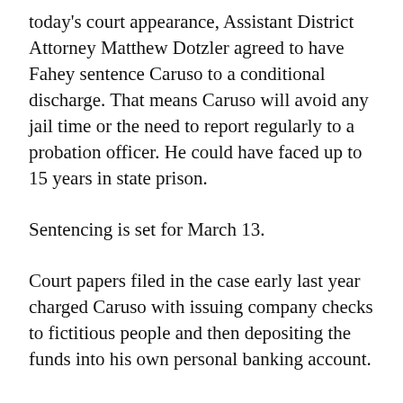today's court appearance, Assistant District Attorney Matthew Dotzler agreed to have Fahey sentence Caruso to a conditional discharge. That means Caruso will avoid any jail time or the need to report regularly to a probation officer. He could have faced up to 15 years in state prison.
Sentencing is set for March 13.
Court papers filed in the case early last year charged Caruso with issuing company checks to fictitious people and then depositing the funds into his own personal banking account.
Court papers also indicated Caruso had been fired by Raymour & Flanigan after being confronted in November 2011 about a problem using company gift